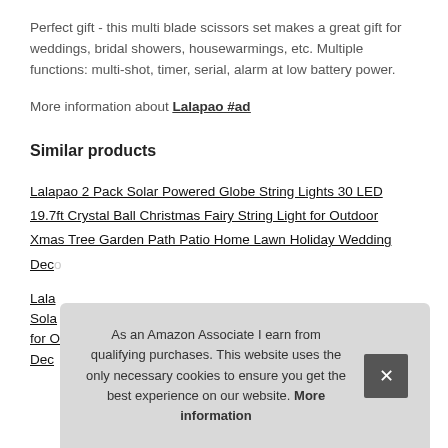Perfect gift - this multi blade scissors set makes a great gift for weddings, bridal showers, housewarmings, etc. Multiple functions: multi-shot, timer, serial, alarm at low battery power.
More information about Lalapao #ad
Similar products
Lalapao 2 Pack Solar Powered Globe String Lights 30 LED 19.7ft Crystal Ball Christmas Fairy String Light for Outdoor Xmas Tree Garden Path Patio Home Lawn Holiday Wedding Deco Party (White) [link truncated]
Lala... Sola... for O... Deco...  [second product link, partially obscured by cookie popup]
As an Amazon Associate I earn from qualifying purchases. This website uses the only necessary cookies to ensure you get the best experience on our website. More information